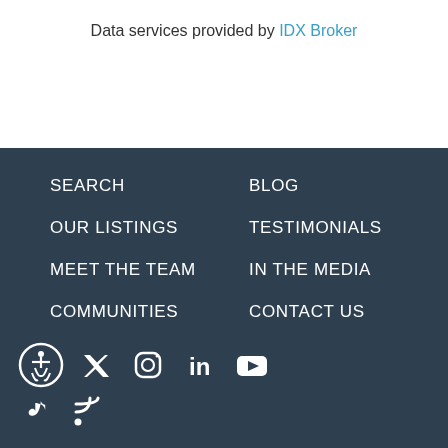Data services provided by IDX Broker
SEARCH
BLOG
OUR LISTINGS
TESTIMONIALS
MEET THE TEAM
IN THE MEDIA
COMMUNITIES
CONTACT US
[Figure (other): Social media icons: accessibility, Twitter, Instagram, LinkedIn, YouTube, TikTok, RSS feed]